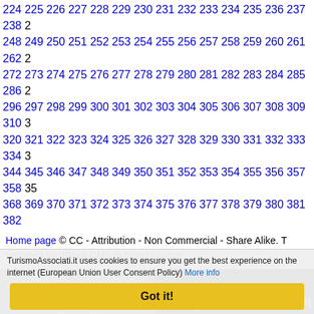224 225 226 227 228 229 230 231 232 233 234 235 236 237 238 248 249 250 251 252 253 254 255 256 257 258 259 260 261 262 272 273 274 275 276 277 278 279 280 281 282 283 284 285 286 296 297 298 299 300 301 302 303 304 305 306 307 308 309 310 320 321 322 323 324 325 326 327 328 329 330 331 332 333 334 344 345 346 347 348 349 350 351 352 353 354 355 356 357 358 368 369 370 371 372 373 374 375 376 377 378 379 380 381 382
Home page © CC - Attribution - Non Commercial - Share Alike. powered by dBlog CMS ® Open Source
[Figure (photo): Banner image with two sections: left shows architectural monument/towers with dramatic cloudy sky, right is black background with white text 'imagine a world wi']
[Figure (photo): Banner image with two sections: left shows colorful abstract gradient (green, blue, purple), right shows 'THE ZEITGEIST' text in large dark letters]
TurismoAssociati.it uses cookies to ensure you get the best experience on the internet (European Union User Consent Policy) More info
Got it!